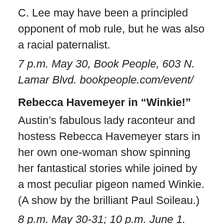C. Lee may have been a principled opponent of mob rule, but he was also a racial paternalist.
7 p.m. May 30, Book People, 603 N. Lamar Blvd. bookpeople.com/event/
Rebecca Havemeyer in “Winkie!”
Austin’s fabulous lady raconteur and hostess Rebecca Havemeyer stars in her own one-woman show spinning her fantastical stories while joined by a most peculiar pigeon named Winkie. (A show by the brilliant Paul Soileau.)
8 p.m. May 30-31; 10 p.m. June 1. Ground Floor Theatre, 979 Springdale Road.
facebook.com/rebecca.havemeyer